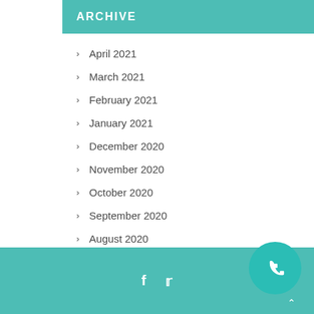ARCHIVE
April 2021
March 2021
February 2021
January 2021
December 2020
November 2020
October 2020
September 2020
August 2020
f  t